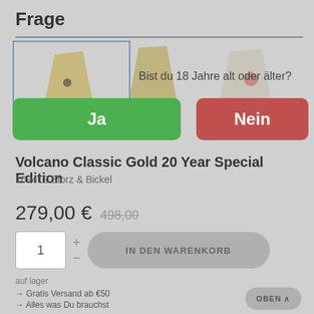Frage
[Figure (screenshot): Age verification modal over product page with Ja (green) and Nein (red) buttons, asking 'Bist du 18 Jahre alt oder älter?']
Bist du 18 Jahre alt oder älter?
Ja
Nein
Volcano Classic Gold 20 Year Special Edition
109412 Storz & Bickel
279,00 € 498,00
1
IN DEN WARENKORB
auf lager
→ Gratis Versand ab €50
→ Alles was Du brauchst
OBEN ∧